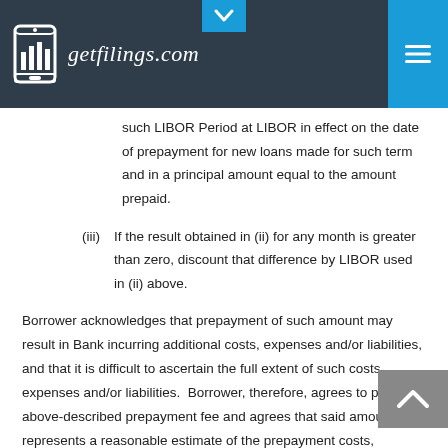getfilings.com
such LIBOR Period at LIBOR in effect on the date of prepayment for new loans made for such term and in a principal amount equal to the amount prepaid.
(iii) If the result obtained in (ii) for any month is greater than zero, discount that difference by LIBOR used in (ii) above.
Borrower acknowledges that prepayment of such amount may result in Bank incurring additional costs, expenses and/or liabilities, and that it is difficult to ascertain the full extent of such costs, expenses and/or liabilities. Borrower, therefore, agrees to pay the above-described prepayment fee and agrees that said amount represents a reasonable estimate of the prepayment costs, expenses and/or liabilities of Bank. If Borrower fails to pay any prepayment fee when due, the